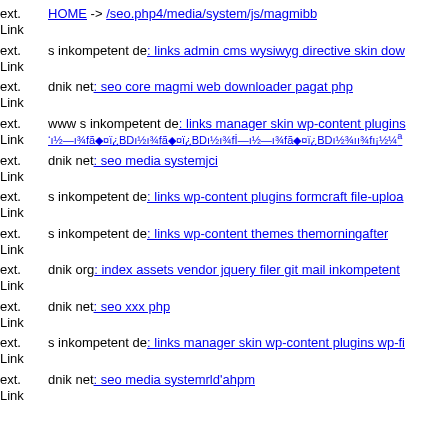ext. Link HOME -> /seo.php4/media/system/js/magmibb
ext. Link s inkompetent de: links admin cms wysiwyg directive skin dow
ext. Link dnik net: seo core magmi web downloader pagat php
ext. Link www s inkompetent de: links manager skin wp-content plugins ...
ext. Link dnik net: seo media systemjci
ext. Link s inkompetent de: links wp-content plugins formcraft file-uploa
ext. Link s inkompetent de: links wp-content themes themorningafter
ext. Link dnik org: index assets vendor jquery filer git mail inkompetent
ext. Link dnik net: seo xxx php
ext. Link s inkompetent de: links manager skin wp-content plugins wp-fi
ext. Link dnik net: seo media systemrld'ahpm